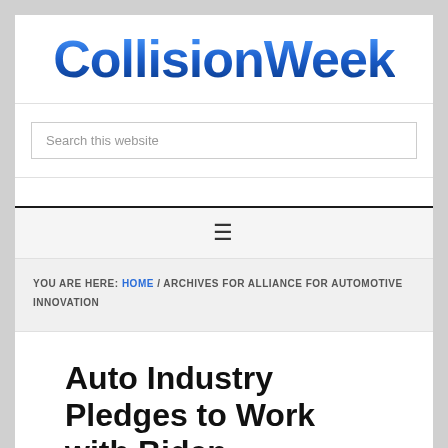[Figure (logo): CollisionWeek logo in bold blue text]
Search this website
≡
YOU ARE HERE: HOME / ARCHIVES FOR ALLIANCE FOR AUTOMOTIVE INNOVATION
Auto Industry Pledges to Work with Biden